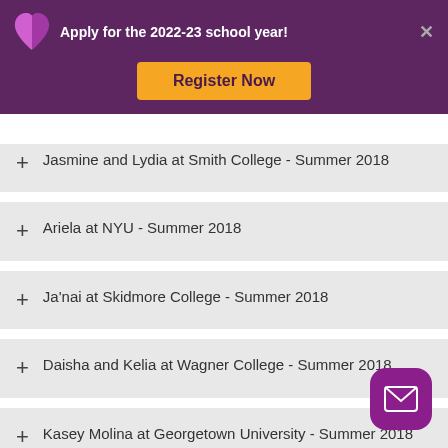Apply for the 2022-23 school year!
Jasmine and Lydia at Smith College - Summer 2018
Ariela at NYU - Summer 2018
Ja'nai at Skidmore College - Summer 2018
Daisha and Kelia at Wagner College - Summer 2018
Kasey Molina at Georgetown University - Summer 2018